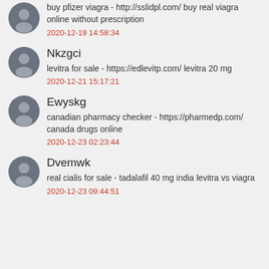buy pfizer viagra - http://sslidpl.com/ buy real viagra online without prescription
2020-12-19 14:58:34
Nkzgci
levitra for sale - https://edlevitp.com/ levitra 20 mg
2020-12-21 15:17:21
Ewyskg
canadian pharmacy checker - https://pharmedp.com/ canada drugs online
2020-12-23 02:23:44
Dvemwk
real cialis for sale - tadalafil 40 mg india levitra vs viagra
2020-12-23 09:44:51